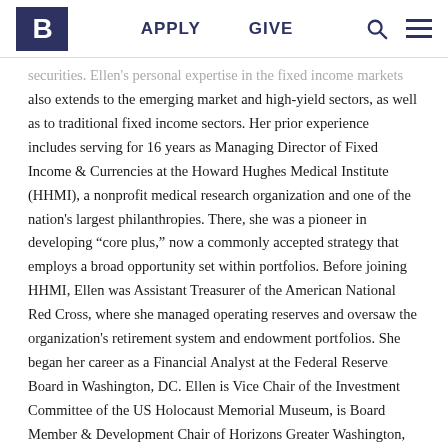B | APPLY | GIVE
securities. Ellen's personal expertise in the fixed income markets also extends to the emerging market and high-yield sectors, as well as to traditional fixed income sectors. Her prior experience includes serving for 16 years as Managing Director of Fixed Income & Currencies at the Howard Hughes Medical Institute (HHMI), a nonprofit medical research organization and one of the nation's largest philanthropies. There, she was a pioneer in developing “core plus,” now a commonly accepted strategy that employs a broad opportunity set within portfolios. Before joining HHMI, Ellen was Assistant Treasurer of the American National Red Cross, where she managed operating reserves and oversaw the organization's retirement system and endowment portfolios. She began her career as a Financial Analyst at the Federal Reserve Board in Washington, DC. Ellen is Vice Chair of the Investment Committee of the US Holocaust Memorial Museum, is Board Member & Development Chair of Horizons Greater Washington, and serves on the Finance Committee of the Foundation for Advanced Education in Science at the National Institutes of Health